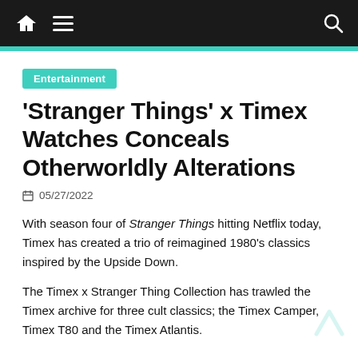Navigation bar with home, menu, and search icons
Entertainment
'Stranger Things' x Timex Watches Conceals Otherworldly Alterations
05/27/2022
With season four of Stranger Things hitting Netflix today, Timex has created a trio of reimagined 1980's classics inspired by the Upside Down.
The Timex x Stranger Thing Collection has trawled the Timex archive for three cult classics; the Timex Camper, Timex T80 and the Timex Atlantis.